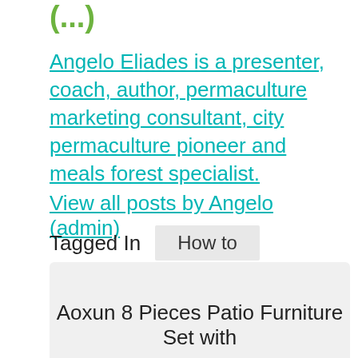Angelo Eliades is a presenter, coach, author, permaculture marketing consultant, city permaculture pioneer and meals forest specialist.
View all posts by Angelo (admin)
Tagged In   How to
Aoxun 8 Pieces Patio Furniture Set with